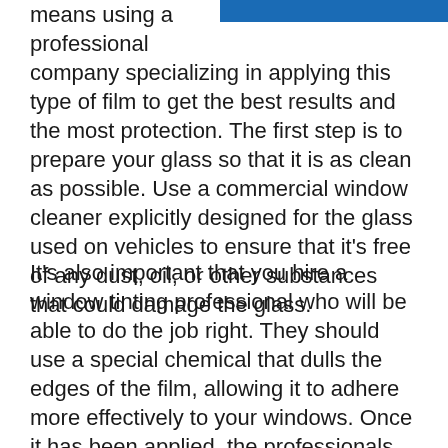[Figure (photo): Partial photo showing a person in a blue shirt, cropped at top of page]
means using a professional company specializing in applying this type of film to get the best results and the most protection. The first step is to prepare your glass so that it is as clean as possible. Use a commercial window cleaner explicitly designed for the glass used on vehicles to ensure that it's free of any dust, oil, or other substances that could damage the glass.
It's also important that you hire a window tinting professional who will be able to do the job right. They should use a special chemical that dulls the edges of the film, allowing it to adhere more effectively to your windows. Once it has been applied, the professionals will need to protect the glass from sunlight at all times, as well as applying any sealant that may be necessary. You don't want the fading to start before you have a